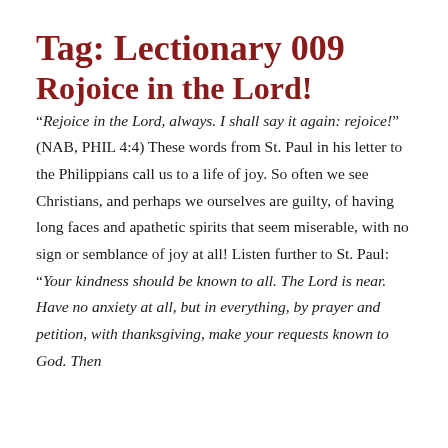Tag: Lectionary 009
Rojoice in the Lord!
“Rejoice in the Lord, always. I shall say it again: rejoice!” (NAB, PHIL 4:4) These words from St. Paul in his letter to the Philippians call us to a life of joy. So often we see Christians, and perhaps we ourselves are guilty, of having long faces and apathetic spirits that seem miserable, with no sign or semblance of joy at all! Listen further to St. Paul: “Your kindness should be known to all. The Lord is near. Have no anxiety at all, but in everything, by prayer and petition, with thanksgiving, make your requests known to God. Then